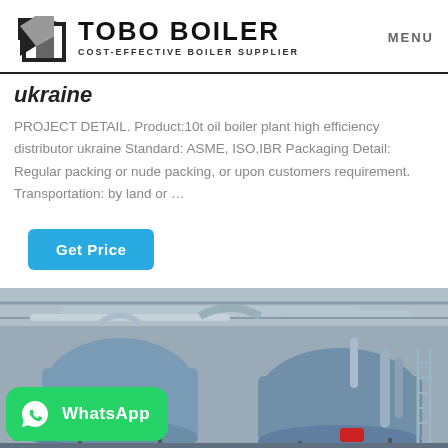TOBO BOILER COST-EFFECTIVE BOILER SUPPLIER | MENU
ukraine
PROJECT DETAIL. Product:10t oil boiler plant high efficiency distributor ukraine Standard: ASME, ISO,IBR Packaging Detail: Regular packing or nude packing, or upon customers requirement. Transportation: by land or …
Get Price
[Figure (photo): Industrial boiler plant interior showing large blue cylindrical boilers with pipes and fittings in a factory setting, with Chinese signage visible on equipment.]